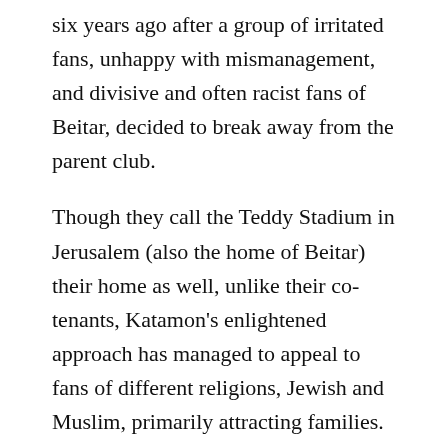six years ago after a group of irritated fans, unhappy with mismanagement, and divisive and often racist fans of Beitar, decided to break away from the parent club.
Though they call the Teddy Stadium in Jerusalem (also the home of Beitar) their home as well, unlike their co-tenants, Katamon's enlightened approach has managed to appeal to fans of different religions, Jewish and Muslim, primarily attracting families.
According to its Web site, the club has more than 400 members who pay an annual membership fee and choose, by ballot, a management team to run the team's day-to-day affairs. The fans do not meddle in the on-field decisions. A visit to the team's Facebook page gives you a taste of who the